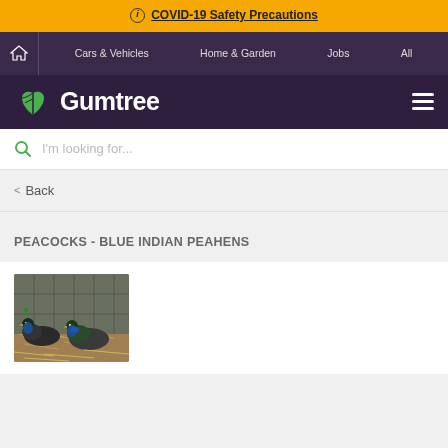ⓘ COVID-19 Safety Precautions
🏠 Cars & Vehicles   Home & Garden   Jobs   All
Gumtree
I'm looking for...
< Back
PEACOCKS - BLUE INDIAN PEAHENS
[Figure (photo): Photo of peacocks/peahens in a pen with straw on the ground]